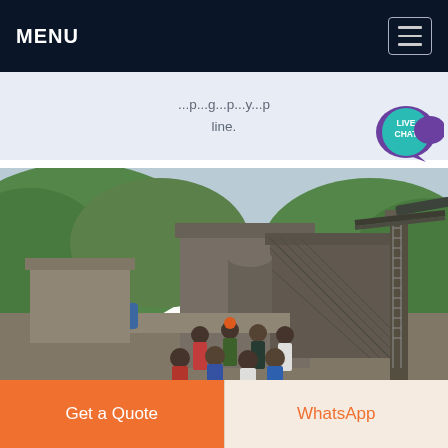MENU
...p...g...p...y...p line.
[Figure (photo): Industrial quarry/mining plant with large machinery, conveyor belts, metal structures, and a group of workers posing in front. Background shows green forested hills.]
Get a Quote
WhatsApp